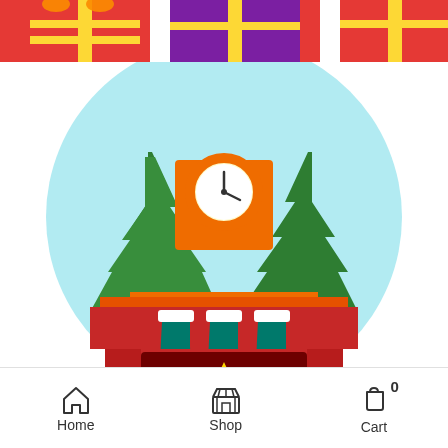[Figure (illustration): Top banner showing colorful wrapped Christmas gift boxes in red, yellow, gold, and purple colors]
[Figure (illustration): Housewarming Gifts promotional illustration showing a flat-design fireplace with teal Christmas stockings hanging from a red mantel, an orange clock on top, green Christmas trees on either side, flames in the fireplace, with bold white text 'Housewarming Gifts' and a green MORE button]
Home  Shop  Cart